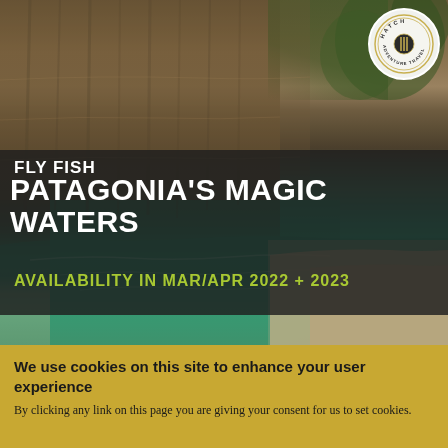[Figure (photo): Scenic photo of Patagonian river canyon with turquoise green water flowing between rocky cliff walls, with gravel shore on the right side and green vegetation visible at top right.]
[Figure (logo): Hatch Adventure Travel circular logo in top right corner, white circle with compass/knife/fork graphic in center and text around the edge.]
FLY FISH PATAGONIA'S MAGIC WATERS
AVAILABILITY IN MAR/APR 2022 + 2023
We use cookies on this site to enhance your user experience
By clicking any link on this page you are giving your consent for us to set cookies.